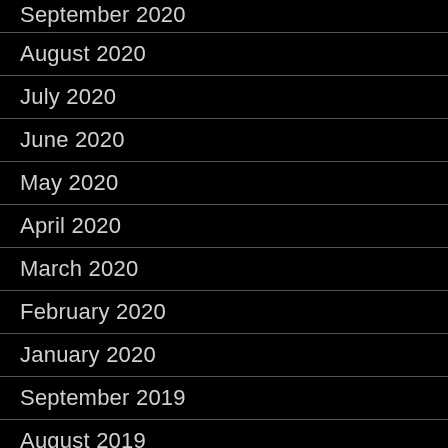September 2020
August 2020
July 2020
June 2020
May 2020
April 2020
March 2020
February 2020
January 2020
September 2019
August 2019
June 2019
May 2019